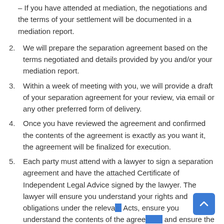– If you have attended at mediation, the negotiations and the terms of your settlement will be documented in a mediation report.
2. We will prepare the separation agreement based on the terms negotiated and details provided by you and/or your mediation report.
3. Within a week of meeting with you, we will provide a draft of your separation agreement for your review, via email or any other preferred form of delivery.
4. Once you have reviewed the agreement and confirmed the contents of the agreement is exactly as you want it, the agreement will be finalized for execution.
5. Each party must attend with a lawyer to sign a separation agreement and have the attached Certificate of Independent Legal Advice signed by the lawyer. The lawyer will ensure you understand your rights and obligations under the relevant Acts, ensure you understand the contents of the agreement and ensure the agreement made is fair.  We will provide you